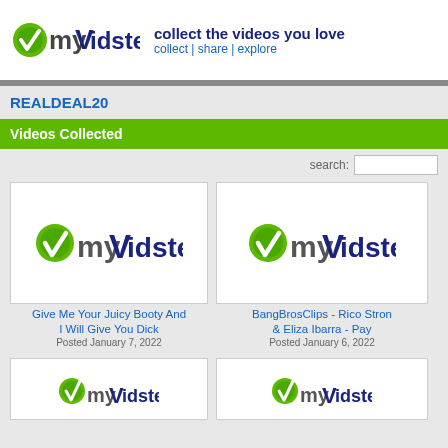[Figure (logo): myVidster logo with green leaf/checkmark icon and text]
collect the videos you love
collect | share | explore
REALDEAL20
Videos Collected
search:
[Figure (screenshot): myVidster logo placeholder thumbnail for video: Give Me Your Juicy Booty And I Will Give You Dick]
Give Me Your Juicy Booty And I Will Give You Dick
Posted January 7, 2022
[Figure (screenshot): myVidster logo placeholder thumbnail for video: BangBrosClips - Rico Stron & Eliza Ibarra - Pay]
BangBrosClips - Rico Stron & Eliza Ibarra - Pay
Posted January 6, 2022
[Figure (screenshot): myVidster logo placeholder thumbnail (partial, bottom of page)]
[Figure (screenshot): myVidster logo placeholder thumbnail (partial, bottom of page)]